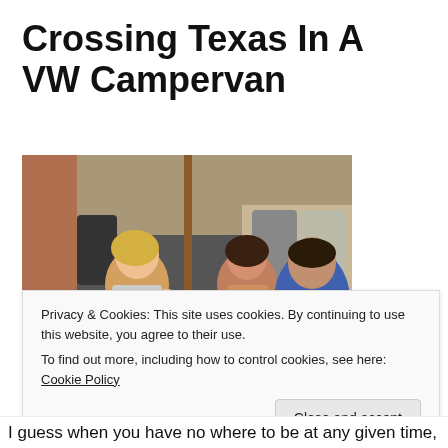Crossing Texas In A VW Campervan
[Figure (photo): A group of people sitting at an outdoor patio table with metal chairs. Two women and a child are on the left side, and a boy in a blue shirt is on the right. There are water bottles on the table and trees visible in the background.]
Privacy & Cookies: This site uses cookies. By continuing to use this website, you agree to their use.
To find out more, including how to control cookies, see here: Cookie Policy
Close and accept
I guess when you have no where to be at any given time,